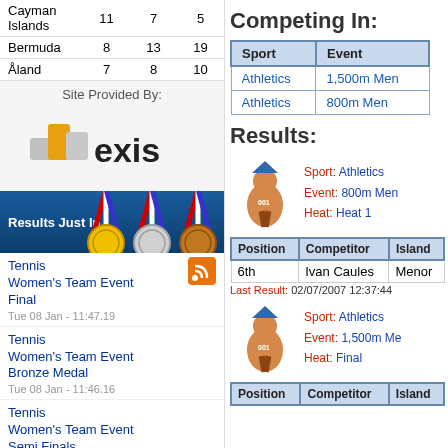|  |  |  |  |
| --- | --- | --- | --- |
| Cayman Islands | 11 | 7 | 5 |
| Bermuda | 8 | 13 | 19 |
| Åland | 7 | 8 | 10 |
Site Provided By:
[Figure (logo): Nexis logo with colored blocks and text 'exis']
[Figure (illustration): Results Just In banner with gold, silver, bronze medals on ribbons]
Tennis Women's Team Event Final
Tue 08 Jan - 11:47.19
Tennis Women's Team Event Bronze Medal
Tue 08 Jan - 11:46.16
Tennis Women's Team Event Semi Finals
Tue 08 Jan - 11:44.46
Tennis Women's Team Event
Competing In:
| Sport | Event |
| --- | --- |
| Athletics | 1,500m Men |
| Athletics | 800m Men |
Results:
[Figure (illustration): Cartoon athlete mascot running]
Sport: Athletics  Event: 800m Men  Heat: Heat 1
| Position | Competitor | Island |
| --- | --- | --- |
| 6th | Ivan Caules | Menor |
Last Result: 02/07/2007 12:37:44
[Figure (illustration): Cartoon athlete mascot running]
Sport: Athletics  Event: 1,500m Men  Heat: Final
| Position | Competitor | Island |
| --- | --- | --- |